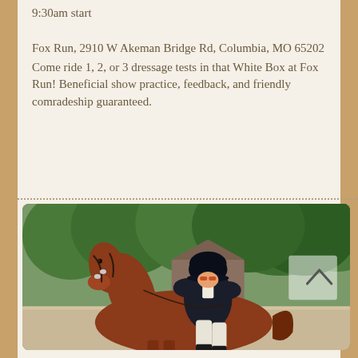9:30am start
Fox Run, 2910 W Akeman Bridge Rd, Columbia, MO 65202
Come ride 1, 2, or 3 dressage tests in that White Box at Fox Run! Beneficial show practice, feedback, and friendly comradeship guaranteed.
[Figure (photo): A dressage rider in formal black jacket and helmet riding a chestnut horse in an outdoor arena, with green trees in the background.]